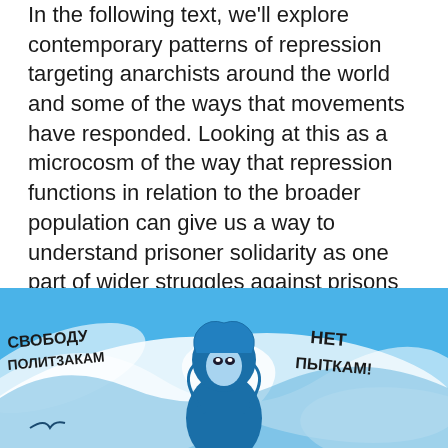In the following text, we'll explore contemporary patterns of repression targeting anarchists around the world and some of the ways that movements have responded. Looking at this as a microcosm of the way that repression functions in relation to the broader population can give us a way to understand prisoner solidarity as one part of wider struggles against prisons and towards freedom for all people. As anarchists, we aim to analyze state tactics of repression in order to develop better security practices, build international connections, and become more skilled at supporting and caring for each other.
[Figure (photo): A colorful mural/graffiti with a blue illustrated figure wearing a blue hijab/hood, with Cyrillic text on the left reading 'СВОБОДУ ПОЛИТЗАКАМ' and on the right 'НЕТ ПЫТКАМ!' on a blue and white swirling background.]